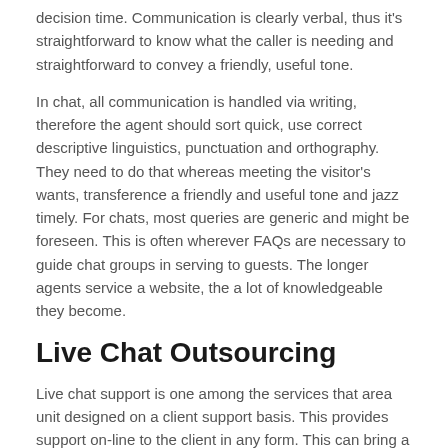decision time. Communication is clearly verbal, thus it's straightforward to know what the caller is needing and straightforward to convey a friendly, useful tone.
In chat, all communication is handled via writing, therefore the agent should sort quick, use correct descriptive linguistics, punctuation and orthography. They need to do that whereas meeting the visitor's wants, transference a friendly and useful tone and jazz timely. For chats, most queries are generic and might be foreseen. This is often wherever FAQs are necessary to guide chat groups in serving to guests. The longer agents service a website, the a lot of knowledgeable they become.
Live Chat Outsourcing
Live chat support is one among the services that area unit designed on a client support basis. This provides support on-line to the client in any form. This can bring a full ability work compliance into the thought. This provides correct steering regarding the merchandise and services of a precise company.